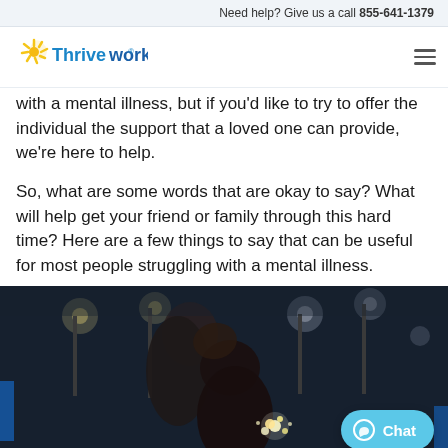Need help? Give us a call 855-641-1379
[Figure (logo): Thriveworks logo with sun/rays icon and blue text]
with a mental illness, but if you'd like to try to offer the individual the support that a loved one can provide, we're here to help.
So, what are some words that are okay to say? What will help get your friend or family through this hard time? Here are a few things to say that can be useful for most people struggling with a mental illness.
[Figure (photo): Two young women outdoors at night holding sparkle lights, bokeh background with street lights]